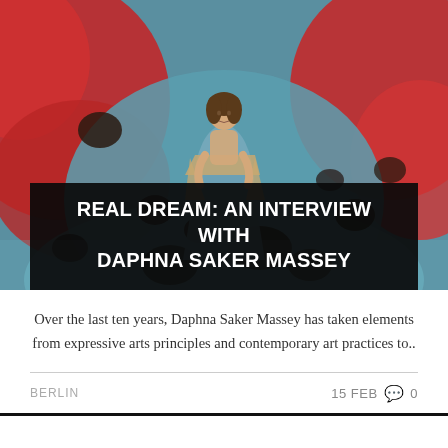[Figure (photo): Painting of a woman in flowing robes standing in a dramatic teal and red abstract background with dark spots]
REAL DREAM: AN INTERVIEW WITH DAPHNA SAKER MASSEY
Over the last ten years, Daphna Saker Massey has taken elements from expressive arts principles and contemporary art practices to..
BERLIN   15 FEB  💬 0